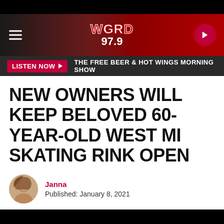WGRD 97.9
LISTEN NOW ▶  THE FREE BEER & HOT WINGS MORNING SHOW
NEW OWNERS WILL KEEP BELOVED 60-YEAR-OLD WEST MI SKATING RINK OPEN
Janna
Published: January 8, 2021